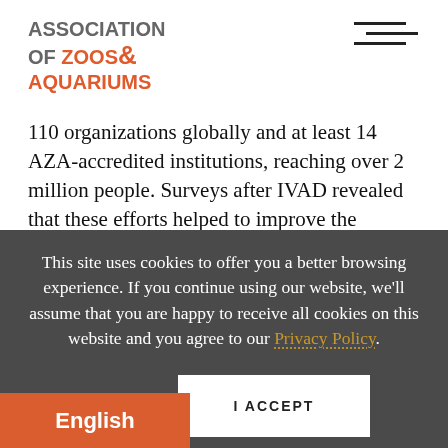[Figure (logo): Association of Zoos & Aquariums logo with two-tone text]
110 organizations globally and at least 14 AZA-accredited institutions, reaching over 2 million people. Surveys after IVAD revealed that these efforts helped to improve the awareness and attitudes of guests towards vultures. Next year, the team hopes to develop
This site uses cookies to offer you a better browsing experience. If you continue using our website, we'll assume that you are happy to receive all cookies on this website and you agree to our Privacy Policy.
I ACCEPT
English